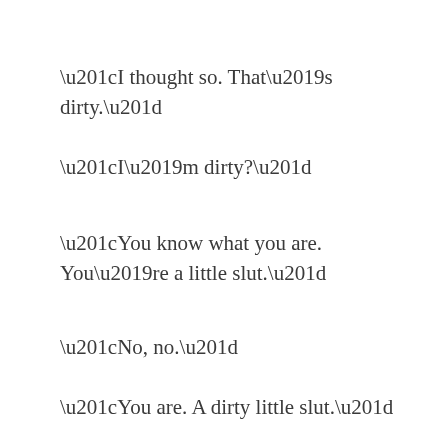“I thought so. That’s dirty.”
“I’m dirty?”
“You know what you are. You’re a little slut.”
“No, no.”
“You are. A dirty little slut.”
“Because I liked it? Because I liked being touched between my legs?”